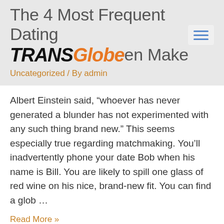The 4 Most Frequent Dating Mistakes Men Make
Uncategorized / By admin
Albert Einstein said, “whoever has never generated a blunder has not experimented with any such thing brand new.” This seems especially true regarding matchmaking. You’ll inadvertently phone your date Bob when his name is Bill. You are likely to spill one glass of red wine on his nice, brand-new fit. You can find a glob …
Read More »
10 Free Cyber Sex Sites And Apps For Sex Chat
Uncategorized / By admin